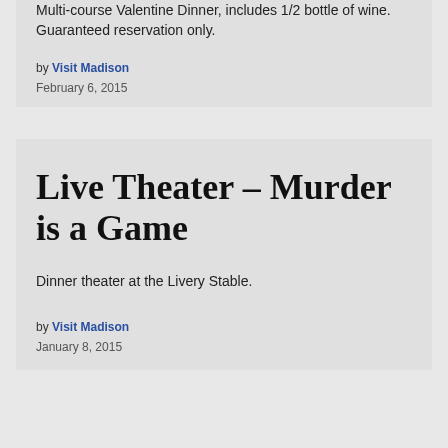Multi-course Valentine Dinner, includes 1/2 bottle of wine. Guaranteed reservation only.
by Visit Madison
February 6, 2015
Live Theater – Murder is a Game
Dinner theater at the Livery Stable.
by Visit Madison
January 8, 2015